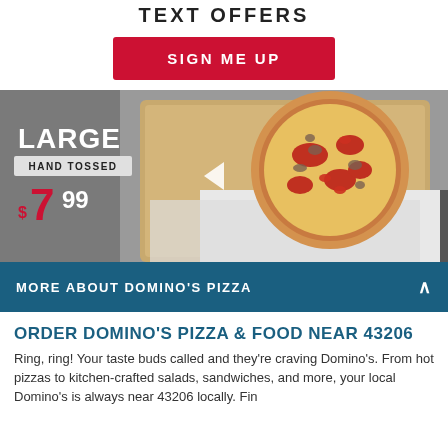TEXT OFFERS
SIGN ME UP
[Figure (photo): Pizza in an open cardboard delivery box, held by a person. Text overlay reads: LARGE HAND TOSSED $7.99. A play button triangle is visible in the center of the image.]
MORE ABOUT DOMINO'S PIZZA
ORDER DOMINO'S PIZZA & FOOD NEAR 43206
Ring, ring! Your taste buds called and they're craving Domino's. From hot pizzas to kitchen-crafted salads, sandwiches, and more, your local Domino's is always near 43206 locally. Find